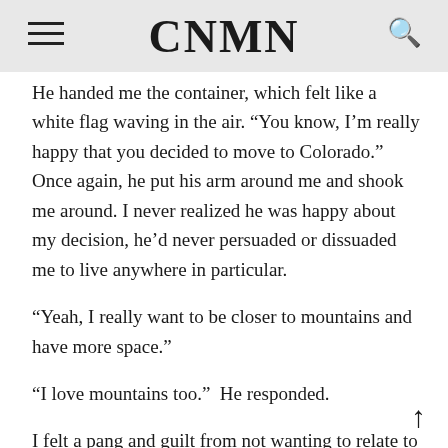CNMN
He handed me the container, which felt like a white flag waving in the air. “You know, I’m really happy that you decided to move to Colorado.” Once again, he put his arm around me and shook me around. I never realized he was happy about my decision, he’d never persuaded or dissuaded me to live anywhere in particular.
“Yeah, I really want to be closer to mountains and have more space.”
“I love mountains too.”  He responded.
I felt a pang and guilt from not wanting to relate to him.
“Did you know your mom almost went into labor when we